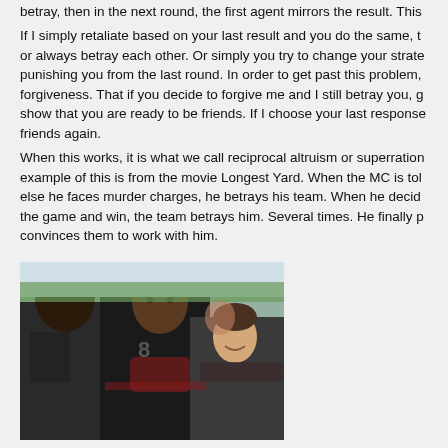betray, then in the next round, the first agent mirrors the result. This
If I simply retaliate based on your last result and you do the same, t or always betray each other. Or simply you try to change your strate punishing you from the last round. In order to get past this problem, forgiveness. That if you decide to forgive me and I still betray you, g show that you are ready to be friends. If I choose your last response friends again.
When this works, it is what we call reciprocal altruism or superration example of this is from the movie Longest Yard. When the MC is tol else he faces murder charges, he betrays his team. When he decid the game and win, the team betrays him. Several times. He finally p convinces them to work with him.
[Figure (photo): Football players in dark uniforms huddled together, from the movie Longest Yard]